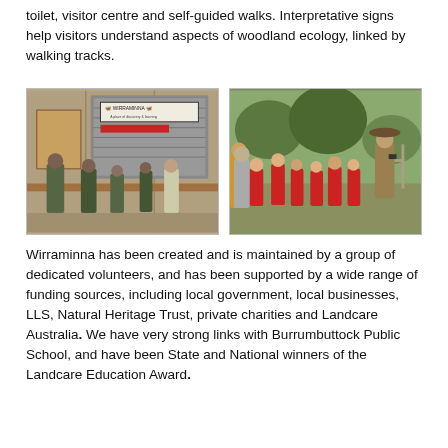toilet, visitor centre and self-guided walks. Interpretative signs help visitors understand aspects of woodland ecology, linked by walking tracks.
[Figure (photo): Students and adults at the Wirraminna visitor centre entrance, looking at displays on a workbench outside a corrugated iron building with a Wirraminna sign.]
[Figure (photo): A group of children in red uniforms and adults gathered outdoors in a bush setting, listening to a guide wearing a hat with binoculars.]
Wirraminna has been created and is maintained by a group of dedicated volunteers, and has been supported by a wide range of funding sources, including local government, local businesses, LLS, Natural Heritage Trust, private charities and Landcare Australia. We have very strong links with Burrumbuttock Public School, and have been State and National winners of the Landcare Education Award.